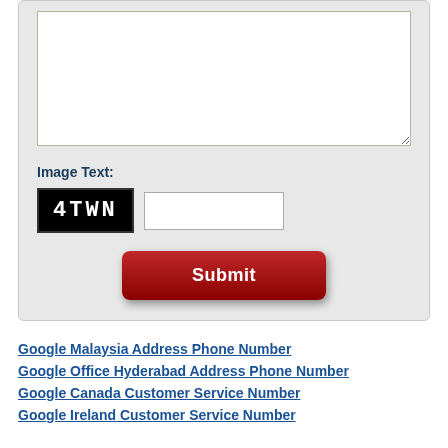[Figure (screenshot): A web form section showing a textarea, CAPTCHA image with text '4TWN', a text input field, and a dark red Submit button, all on a light gray background with rounded border.]
Image Text:
Google Malaysia Address Phone Number
Google Office Hyderabad Address Phone Number
Google Canada Customer Service Number
Google Ireland Customer Service Number